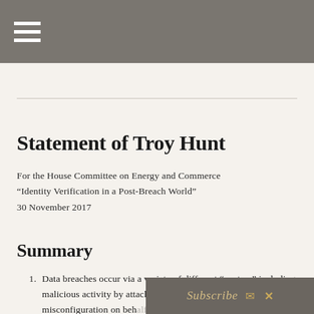here why written testimony in full.
Statement of Troy Hunt
For the House Committee on Energy and Commerce
“Identity Verification in a Post-Breach World”
30 November 2017
Summary
Data breaches occur via a variety of different “vectors” including malicious activity by attackers exploiting vulnerabilities, misconfiguration on behalf of...